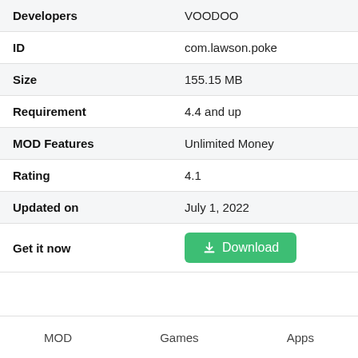| Field | Value |
| --- | --- |
| Developers | VOODOO |
| ID | com.lawson.poke |
| Size | 155.15 MB |
| Requirement | 4.4 and up |
| MOD Features | Unlimited Money |
| Rating | 4.1 |
| Updated on | July 1, 2022 |
| Get it now | [Download button] |
MOD   Games   Apps